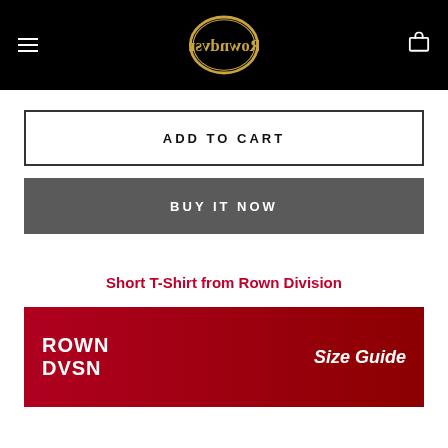Rowndvsn logo navigation bar with hamburger menu and cart icon
ADD TO CART
BUY IT NOW
Short T-Shirt from Rown Division
[Figure (logo): Rown Division size guide banner with brand name ROWN DVSN on red background and Size Guide text on right]